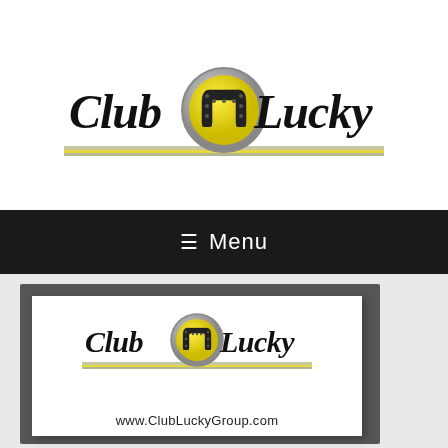[Figure (logo): Club U Lucky logo with horseshoe U emblem in yellow/chrome circle, cursive black lettering 'Club' and 'Lucky', decorative horizontal bar below]
≡  Menu
[Figure (logo): Club U Lucky business card showing the logo and www.ClubLuckyGroup.com URL, displayed on a dark grey background]